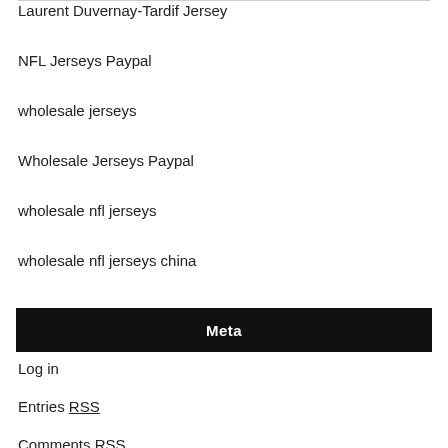Laurent Duvernay-Tardif Jersey
NFL Jerseys Paypal
wholesale jerseys
Wholesale Jerseys Paypal
wholesale nfl jerseys
wholesale nfl jerseys china
Meta
Log in
Entries RSS
Comments RSS